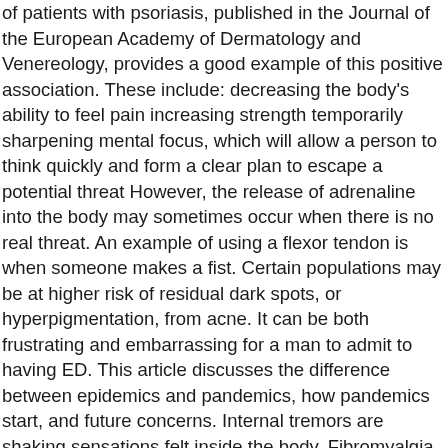of patients with psoriasis, published in the Journal of the European Academy of Dermatology and Venereology, provides a good example of this positive association. These include: decreasing the body's ability to feel pain increasing strength temporarily sharpening mental focus, which will allow a person to think quickly and form a clear plan to escape a potential threat However, the release of adrenaline into the body may sometimes occur when there is no real threat. An example of using a flexor tendon is when someone makes a fist. Certain populations may be at higher risk of residual dark spots, or hyperpigmentation, from acne. It can be both frustrating and embarrassing for a man to admit to having ED. This article discusses the difference between epidemics and pandemics, how pandemics start, and future concerns. Internal tremors are shaking sensations felt inside the body. Fibromyalgia symptoms vary from person to person. This causes part or all of the body to shiver or shake. Many people worldwide cannot afford the cost of regular dental checks, so adding fluoride can offer savings and benefits to those who need them. This article explores the evidence behind 11 nonsurgical treatments for back pain. About 85% of people with the disease will first receive a diagnosis of RRMS. By publishing their study findings in medical journals, they